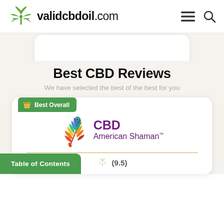validcbdoil.com
[Figure (screenshot): Top portion of a white product card, mostly empty white space]
Best CBD Reviews
We have selected the best of the best for you
[Figure (logo): CBD American Shaman logo with colorful feather and purple text]
(9.5)
Table of Contents